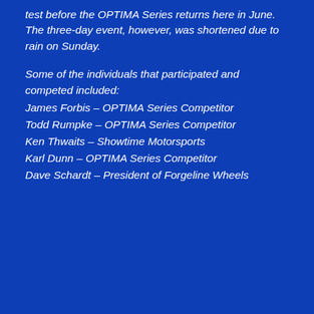test before the OPTIMA Series returns here in June. The three-day event, however, was shortened due to rain on Sunday.
Some of the individuals that participated and competed included:
James Forbis – OPTIMA Series Competitor
Todd Rumpke – OPTIMA Series Competitor
Ken Thwaits – Showtime Motorsports
Karl Dunn – OPTIMA Series Competitor
Dave Schardt – President of Forgeline Wheels